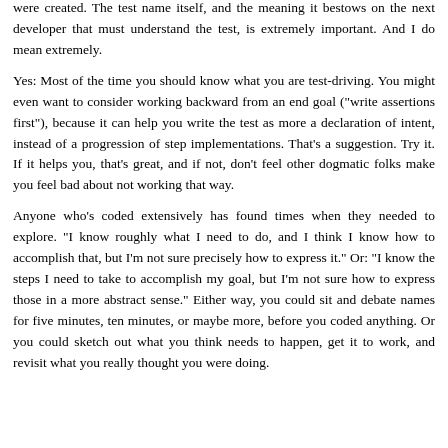were created. The test name itself, and the meaning it bestows on the next developer that must understand the test, is extremely important. And I do mean extremely.
Yes: Most of the time you should know what you are test-driving. You might even want to consider working backward from an end goal ("write assertions first"), because it can help you write the test as more a declaration of intent, instead of a progression of step implementations. That's a suggestion. Try it. If it helps you, that's great, and if not, don't feel other dogmatic folks make you feel bad about not working that way.
Anyone who's coded extensively has found times when they needed to explore. "I know roughly what I need to do, and I think I know how to accomplish that, but I'm not sure precisely how to express it." Or: "I know the steps I need to take to accomplish my goal, but I'm not sure how to express those in a more abstract sense." Either way, you could sit and debate names for five minutes, ten minutes, or maybe more, before you coded anything. Or you could sketch out what you think needs to happen, get it to work, and revisit what you really thought you were doing.